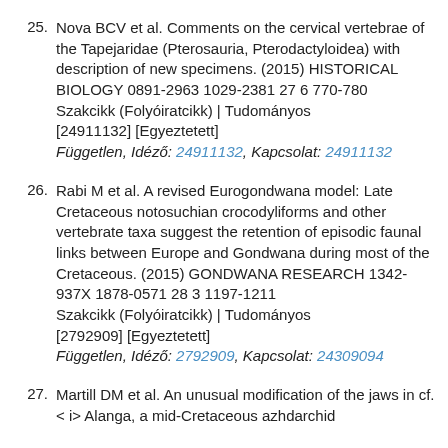Nova BCV et al. Comments on the cervical vertebrae of the Tapejaridae (Pterosauria, Pterodactyloidea) with description of new specimens. (2015) HISTORICAL BIOLOGY 0891-2963 1029-2381 27 6 770-780 Szakcikk (Folyóiratcikk) | Tudományos [24911132] [Egyeztetett] Független, Idéző: 24911132, Kapcsolat: 24911132
Rabi M et al. A revised Eurogondwana model: Late Cretaceous notosuchian crocodyliforms and other vertebrate taxa suggest the retention of episodic faunal links between Europe and Gondwana during most of the Cretaceous. (2015) GONDWANA RESEARCH 1342-937X 1878-0571 28 3 1197-1211 Szakcikk (Folyóiratcikk) | Tudományos [2792909] [Egyeztetett] Független, Idéző: 2792909, Kapcsolat: 24309094
Martill DM et al. An unusual modification of the jaws in cf.< i> Alanga, a mid-Cretaceous azhdarchid